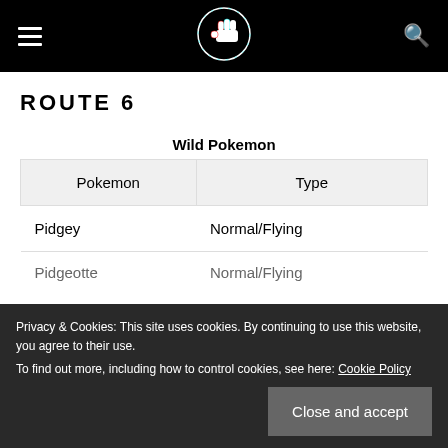Navigation bar with hamburger menu, site logo, and search icon
ROUTE 6
Wild Pokemon
| Pokemon | Type |
| --- | --- |
| Pidgey | Normal/Flying |
| Pidgeotte | Normal/Flying |
Privacy & Cookies: This site uses cookies. By continuing to use this website, you agree to their use. To find out more, including how to control cookies, see here: Cookie Policy